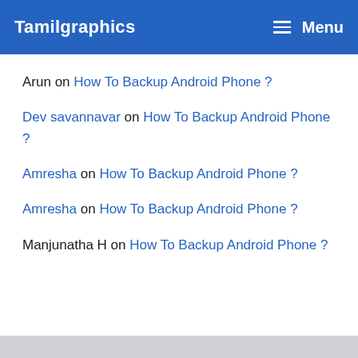Tamilgraphics   Menu
Arun on How To Backup Android Phone ?
Dev savannavar on How To Backup Android Phone ?
Amresha on How To Backup Android Phone ?
Amresha on How To Backup Android Phone ?
Manjunatha H on How To Backup Android Phone ?